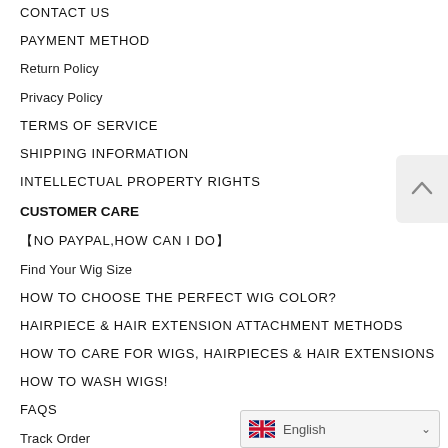CONTACT US
PAYMENT METHOD
Return Policy
Privacy Policy
TERMS OF SERVICE
SHIPPING INFORMATION
INTELLECTUAL PROPERTY RIGHTS
CUSTOMER CARE
【NO PAYPAL,HOW CAN I DO】
Find Your Wig Size
HOW TO CHOOSE THE PERFECT WIG COLOR?
HAIRPIECE & HAIR EXTENSION ATTACHMENT METHODS
HOW TO CARE FOR WIGS, HAIRPIECES & HAIR EXTENSIONS
HOW TO WASH WIGS!
FAQS
Track Order
English